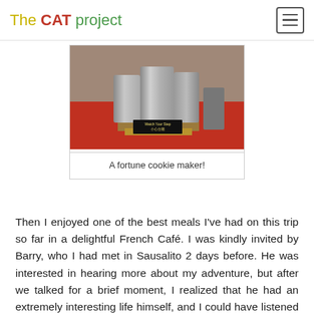The CAT project
[Figure (photo): A fortune cookie maker machine with cylindrical metal canisters and a 'Watch Your Step / 小心台階' sign on a red floor]
A fortune cookie maker!
Then I enjoyed one of the best meals I've had on this trip so far in a delightful French Café. I was kindly invited by Barry, who I had met in Sausalito 2 days before. He was interested in hearing more about my adventure, but after we talked for a brief moment, I realized that he had an extremely interesting life himself, and I could have listened to his stories for hours. Luckily he just wrote a book about some of his experiences, that will be published soon, so we briefly